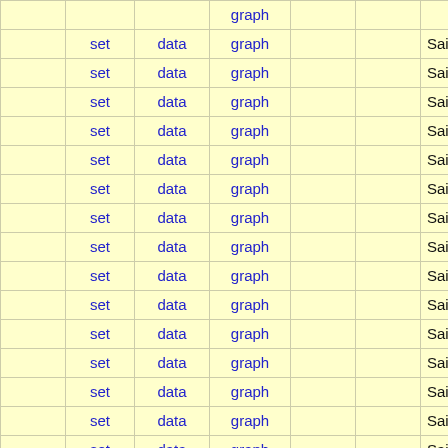|  |  |  |  |  |  |  |
| --- | --- | --- | --- | --- | --- | --- |
|  | set | data | graph |  |  | Saildrone 2020 Fisheries Pollo… |
|  | set | data | graph |  |  | Saildrone 2020 Fisheries Pollo… |
|  | set | data | graph |  |  | Saildrone 2021 Arctic OCS Sing… |
|  | set | data | graph |  |  | Saildrone 2021 Arctic OCS Sing… |
|  | set | data | graph |  |  | Saildrone 2021 Arctic OCS Sing… |
|  | set | data | graph |  |  | Saildrone 2021 Arctic OCS Sing… |
|  | set | data | graph |  |  | Saildrone 2021 NOAA SWFSC… |
|  | set | data | graph |  |  | Saildrone 2021 NOAA SWFSC… |
|  | set | data | graph |  |  | Saildrone 2021 NOAA SWFSC… |
|  | set | data | graph |  |  | Saildrone 2021 NWFSC Hake S… |
|  | set | data | graph |  |  | Saildrone 2021 NWFSC Hake S… |
|  | set | data | graph |  |  | Saildrone 2022 NOAA SWFSC… |
|  | set | data | graph |  |  | Saildrone 2022 NOAA SWFSC… |
|  | set | data | graph |  |  | Saildrone 2022 NOAA SWFSC… |
|  | set | data | graph |  |  | Saildrone 2022 TPOS PMEL NI… |
|  | set | data | graph |  |  | Saildrone 2022 TPOS PMEL NI… |
|  | set | data | graph |  |  | Saildrone Arctic 2018 data |
|  | set | data | graph |  |  | Saildrone Hurricane Monitoring… |
|  | set | data | graph |  |  | Saildrone Hurricane Monitoring… |